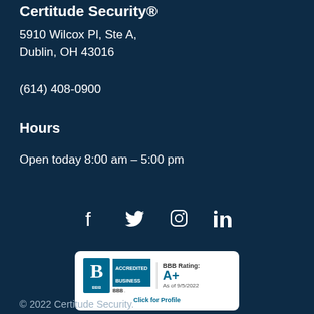Certitude Security®
5910 Wilcox Pl, Ste A,
Dublin, OH 43016
(614) 408-0900
Hours
Open today 8:00 am – 5:00 pm
[Figure (other): Social media icons: Facebook, Twitter, Instagram, LinkedIn]
[Figure (other): BBB Accredited Business badge. BBB Rating: A+. As of 9/5/2022. Click for Profile.]
© 2022 Certitude Security.